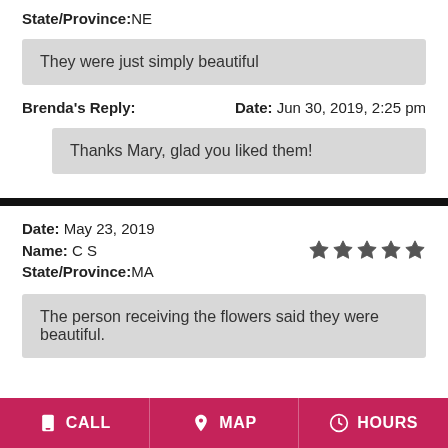State/Province: NE
They were just simply beautiful
Brenda's Reply:    Date: Jun 30, 2019, 2:25 pm
Thanks Mary, glad you liked them!
Date: May 23, 2019
Name: C S
State/Province: MA
The person receiving the flowers said they were beautiful.
CALL   MAP   HOURS